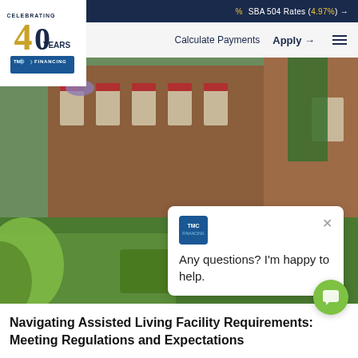% SBA 504 Rates (4.97%) →
Calculate Payments  Apply →  ☰
[Figure (logo): TMC Financing logo with 'Celebrating 40 Years' text and gold/navy branding]
[Figure (photo): Outdoor garden scene with brick buildings with red shutters and flower boxes; two elderly people seated among green hedges]
Any questions? I'm happy to help.
Navigating Assisted Living Facility Requirements: Meeting Regulations and Expectations